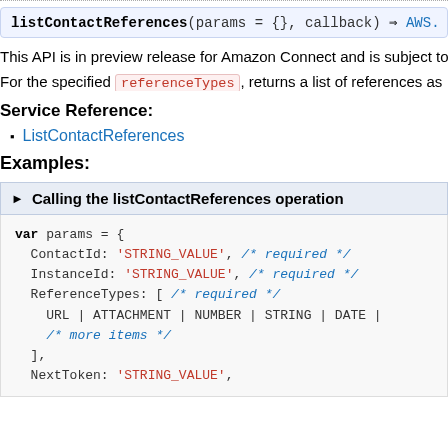listContactReferences(params = {}, callback) ⇒ AWS.
This API is in preview release for Amazon Connect and is subject to
For the specified referenceTypes, returns a list of references as
Service Reference:
ListContactReferences
Examples:
▶ Calling the listContactReferences operation
var params = {
  ContactId: 'STRING_VALUE', /* required */
  InstanceId: 'STRING_VALUE', /* required */
  ReferenceTypes: [ /* required */
    URL | ATTACHMENT | NUMBER | STRING | DATE |
    /* more items */
  ],
  NextToken: 'STRING_VALUE',